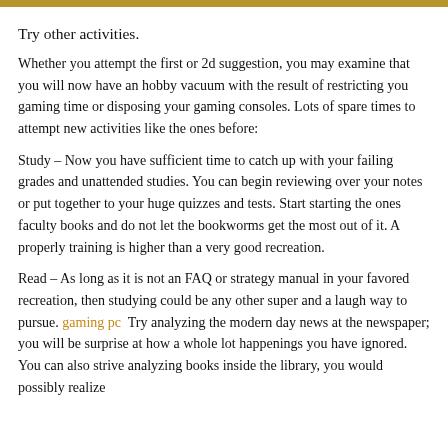Try other activities.
Whether you attempt the first or 2d suggestion, you may examine that you will now have an hobby vacuum with the result of restricting you gaming time or disposing your gaming consoles. Lots of spare times to attempt new activities like the ones before:
Study – Now you have sufficient time to catch up with your failing grades and unattended studies. You can begin reviewing over your notes or put together to your huge quizzes and tests. Start starting the ones faculty books and do not let the bookworms get the most out of it. A properly training is higher than a very good recreation.
Read – As long as it is not an FAQ or strategy manual in your favored recreation, then studying could be any other super and a laugh way to pursue. gaming pc  Try analyzing the modern day news at the newspaper; you will be surprise at how a whole lot happenings you have ignored. You can also strive analyzing books inside the library, you would possibly realize